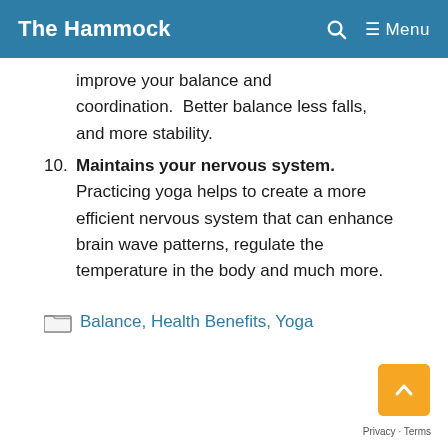The Hammock
improve your balance and coordination.  Better balance less falls, and more stability.
10. Maintains your nervous system. Practicing yoga helps to create a more efficient nervous system that can enhance brain wave patterns, regulate the temperature in the body and much more.
Balance, Health Benefits, Yoga